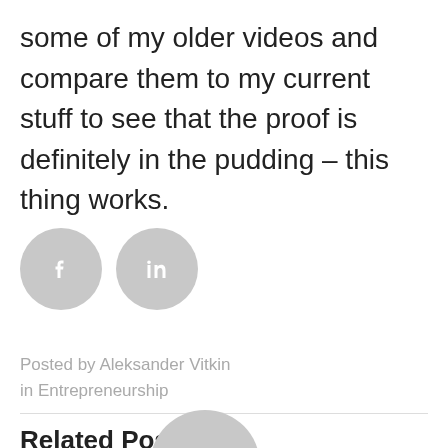some of my older videos and compare them to my current stuff to see that the proof is definitely in the pudding – this thing works.
[Figure (other): Social sharing icons: Facebook (f) circle and LinkedIn (in) circle, both in grey]
Posted by Aleksander Vitkin in Entrepreneurship
Related Posts
[Figure (other): Partial grey circle at bottom of page, top half of a related post thumbnail]